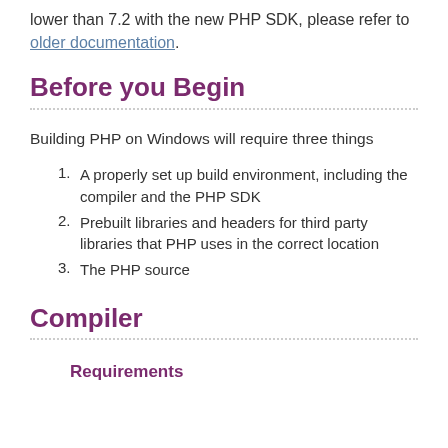lower than 7.2 with the new PHP SDK, please refer to older documentation.
Before you Begin
Building PHP on Windows will require three things
A properly set up build environment, including the compiler and the PHP SDK
Prebuilt libraries and headers for third party libraries that PHP uses in the correct location
The PHP source
Compiler
Requirements